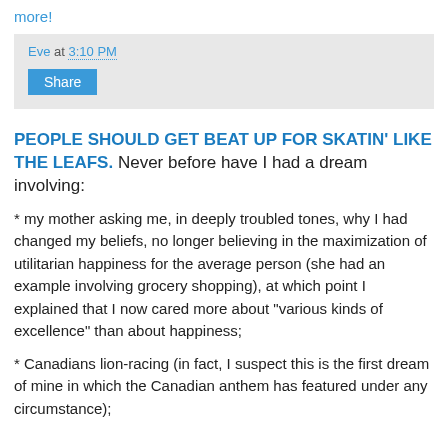more!
Eve at 3:10 PM
Share
PEOPLE SHOULD GET BEAT UP FOR SKATIN' LIKE THE LEAFS. Never before have I had a dream involving:
* my mother asking me, in deeply troubled tones, why I had changed my beliefs, no longer believing in the maximization of utilitarian happiness for the average person (she had an example involving grocery shopping), at which point I explained that I now cared more about "various kinds of excellence" than about happiness;
* Canadians lion-racing (in fact, I suspect this is the first dream of mine in which the Canadian anthem has featured under any circumstance);